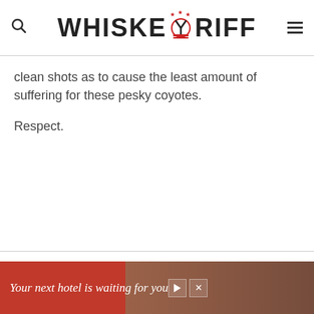WHISKEYGRIFF
clean shots as to cause the least amount of suffering for these pesky coyotes.
Respect.
[Figure (screenshot): Advertisement banner: 'Your next hotel is waiting for you' with a background image of a resort/hotel and play/close buttons on the right, red background.]